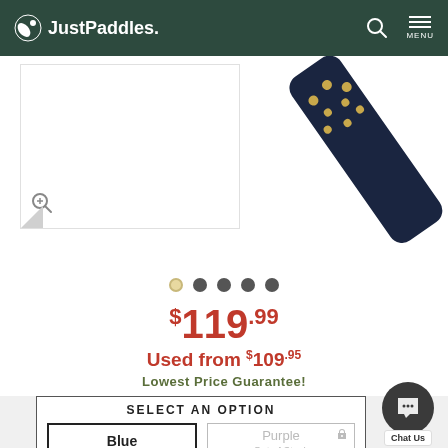JustPaddles.
[Figure (photo): Partial product image of a dark blue pickleball paddle with gold dots visible in upper right, with white product image box on left side and zoom icon]
[Figure (other): Carousel navigation dots — 5 dots, first one active/selected (tan/gold color), rest dark gray]
$119.99
Used from $109.95
Lowest Price Guarantee!
SELECT AN OPTION
Blue
Purple
Out of Stock